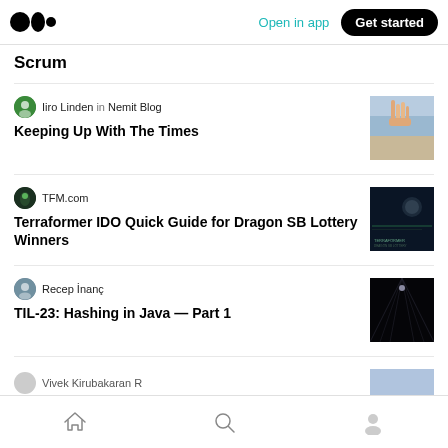Medium logo | Open in app | Get started
Scrum
Iiro Linden in Nemit Blog
Keeping Up With The Times
[Figure (photo): Thumbnail image of a hand raised against a city skyline]
TFM.com
Terraformer IDO Quick Guide for Dragon SB Lottery Winners
[Figure (photo): Dark thumbnail image with moon and text]
Recep İnanç
TIL-23: Hashing in Java — Part 1
[Figure (photo): Dark abstract tunnel image]
Vivek Kirubakaran R
Home | Search | Profile navigation icons